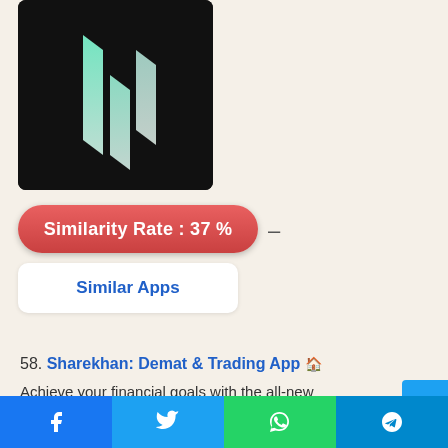[Figure (logo): Dark background app logo with three parallelogram bars in teal/mint gradient forming a bar-chart-like icon]
Similarity Rate : 37 %
–
Similar Apps
58. Sharekhan: Demat & Trading App 🏠
Achieve your financial goals with the all-new Sharekhan...